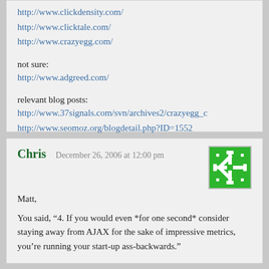http://www.clickdensity.com/
http://www.clicktale.com/
http://www.crazyegg.com/
not sure:
http://www.adgreed.com/
relevant blog posts:
http://www.37signals.com/svn/archives2/crazyegg_c
http://www.seomoz.org/blogdetail.php?ID=1552
Chris   December 26, 2006 at 12:00 pm
Matt,
You said, “4. If you would even *for one second* consider staying away from AJAX for the sake of impressive metrics, you’re running your start-up ass-backwards.”